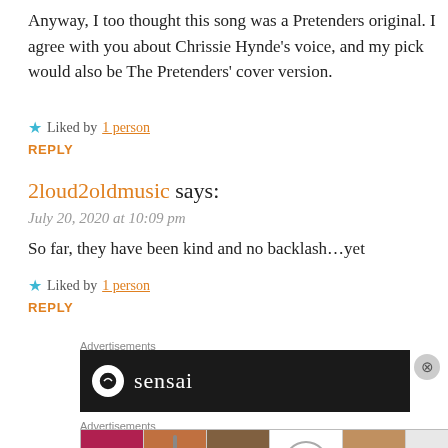Anyway, I too thought this song was a Pretenders original. I agree with you about Chrissie Hynde's voice, and my pick would also be The Pretenders' cover version.
★ Liked by 1 person
REPLY
2loud2oldmusic says:
July 20, 2020 at 10:09 pm
So far, they have been kind and no backlash…yet
★ Liked by 1 person
REPLY
Advertisements
[Figure (other): Dark advertisement banner showing a logo/circle and the word 'sensai']
Advertisements
[Figure (other): Advertisement strip showing cosmetics/beauty images including lips, brush, eye, ULTA logo, face/eyes, and SHOP NOW button]